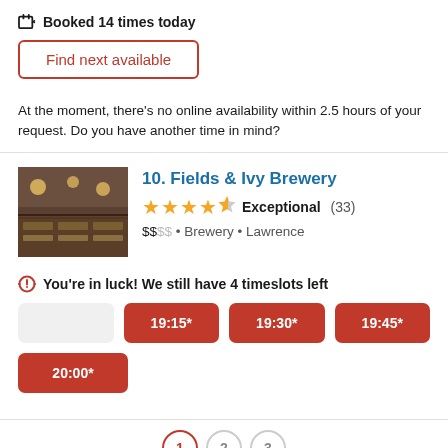Booked 14 times today
Find next available
At the moment, there's no online availability within 2.5 hours of your request. Do you have another time in mind?
10. Fields & Ivy Brewery
[Figure (photo): Interior photo of Fields & Ivy Brewery showing dining area with tables]
Exceptional (33)
$$$$ • Brewery • Lawrence
You're in luck! We still have 4 timeslots left
19:15*
19:30*
19:45*
20:00*